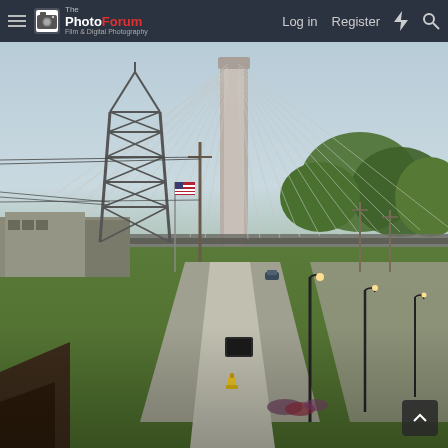The PhotoForum - Film & Digital Photography | Log in | Register
[Figure (photo): Street-level view of a cable-stayed bridge tower with cables radiating outward. In the foreground is a sidewalk and green lawn area with decorative street lamps. An industrial area with a steel lattice power transmission tower is visible on the left. Trees line the right side. Overcast sky with some blue.]